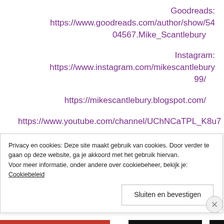Goodreads:  https://www.goodreads.com/author/show/5404567.Mike_Scantlebury
Instagram:  https://www.instagram.com/mikescantlebury99/
https://mikescantlebury.blogspot.com/
https://www.youtube.com/channel/UChNCaTPL_K8u7
Privacy en cookies: Deze site maakt gebruik van cookies. Door verder te gaan op deze website, ga je akkoord met het gebruik hiervan. Voor meer informatie, onder andere over cookiebeheer, bekijk je: Cookiebeleid
Sluiten en bevestigen